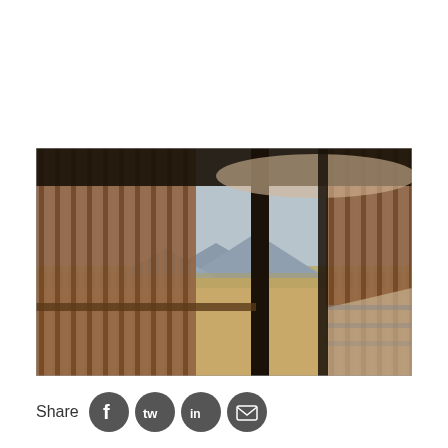[Figure (photo): Interior view of a circular modern pavilion or observation deck with vertical wooden slat walls/railings. The structure has a curved roof and open sides revealing a vast desert landscape with dry shrubland, mountains in the distance, and an overcast sky. A ramp or walkway is visible on the right side.]
Share